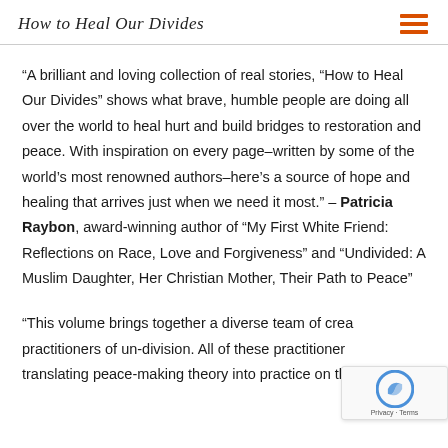How to Heal Our Divides
“A brilliant and loving collection of real stories, “How to Heal Our Divides” shows what brave, humble people are doing all over the world to heal hurt and build bridges to restoration and peace. With inspiration on every page–written by some of the world’s most renowned authors–here’s a source of hope and healing that arrives just when we need it most.” – Patricia Raybon, award-winning author of “My First White Friend: Reflections on Race, Love and Forgiveness” and “Undivided: A Muslim Daughter, Her Christian Mother, Their Path to Peace”
“This volume brings together a diverse team of crea… practitioners of un-division. All of these practitioner… translating peace-making theory into practice on the…